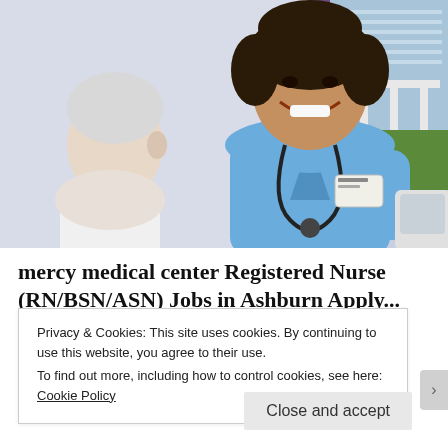[Figure (photo): A smiling young Black female nurse in blue scrubs with a stethoscope around her neck, interacting warmly with an elderly white-haired male patient. The patient is in a white hospital gown. Background shows a window with blinds and some greenery outside.]
mercy medical center Registered Nurse (RN/BSN/ASN) Jobs in Ashburn Apply...
Privacy & Cookies: This site uses cookies. By continuing to use this website, you agree to their use.
To find out more, including how to control cookies, see here:
Cookie Policy
Close and accept